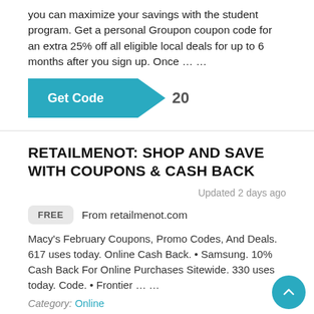you can maximize your savings with the student program. Get a personal Groupon coupon code for an extra 25% off all eligible local deals for up to 6 months after you sign up. Once ... ...
[Figure (other): Teal 'Get Code' button with arrow shape, showing code number '20']
RETAILMENOT: SHOP AND SAVE WITH COUPONS & CASH BACK
Updated 2 days ago
FREE  From retailmenot.com
Macy's February Coupons, Promo Codes, And Deals. 617 uses today. Online Cash Back. • Samsung. 10% Cash Back For Online Purchases Sitewide. 330 uses today. Code. • Frontier ... ...
Category: Online